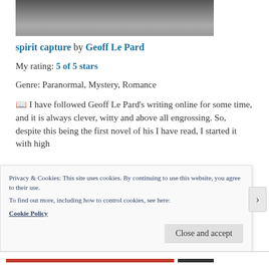[Figure (photo): Black and white photo strip, partially visible at top of page]
spirit capture by Geoff Le Pard
My rating: 5 of 5 stars
Genre: Paranormal, Mystery, Romance
📖 I have followed Geoff Le Pard's writing online for some time, and it is always clever, witty and above all engrossing. So, despite this being the first novel of his I have read, I started it with high
Privacy & Cookies: This site uses cookies. By continuing to use this website, you agree to their use.
To find out more, including how to control cookies, see here:
Cookie Policy
Close and accept